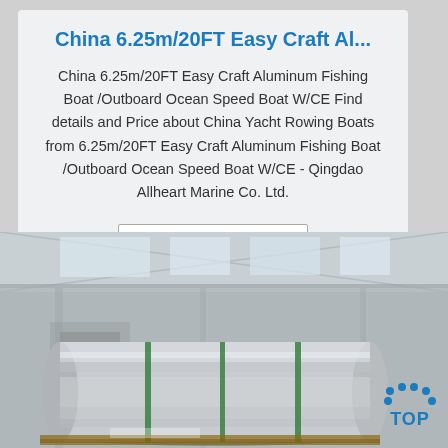China 6.25m/20FT Easy Craft Al...
China 6.25m/20FT Easy Craft Aluminum Fishing Boat /Outboard Ocean Speed Boat W/CE Find details and Price about China Yacht Rowing Boats from 6.25m/20FT Easy Craft Aluminum Fishing Boat /Outboard Ocean Speed Boat W/CE - Qingdao Allheart Marine Co. Ltd.
Get Price
[Figure (photo): Large roll of aluminum sheet/coil stored in an industrial warehouse, with green strapping bands. The roll is silver metallic, sitting on wooden pallets. Industrial ceiling with skylights visible in background.]